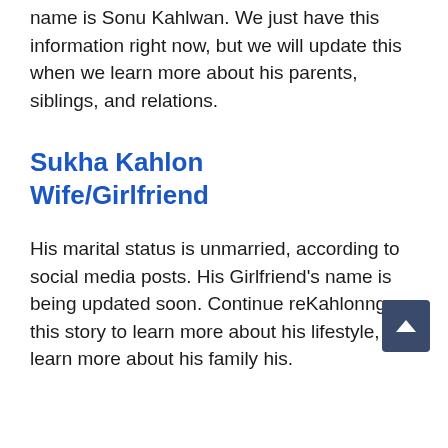name is Sonu Kahlwan. We just have this information right now, but we will update this when we learn more about his parents, siblings, and relations.
Sukha Kahlon Wife/Girlfriend
His marital status is unmarried, according to social media posts. His Girlfriend's name is being updated soon. Continue reKahlonng this story to learn more about his lifestyle, and learn more about his family his.